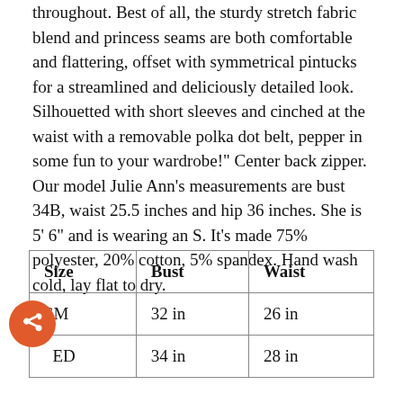throughout. Best of all, the sturdy stretch fabric blend and princess seams are both comfortable and flattering, offset with symmetrical pintucks for a streamlined and deliciously detailed look. Silhouetted with short sleeves and cinched at the waist with a removable polka dot belt, pepper in some fun to your wardrobe!" Center back zipper. Our model Julie Ann's measurements are bust 34B, waist 25.5 inches and hip 36 inches. She is 5' 6" and is wearing an S. It's made 75% polyester, 20% cotton, 5% spandex. Hand wash cold, lay flat to dry.
| Size | Bust | Waist |
| --- | --- | --- |
| SM | 32 in | 26 in |
| MED | 34 in | 28 in |